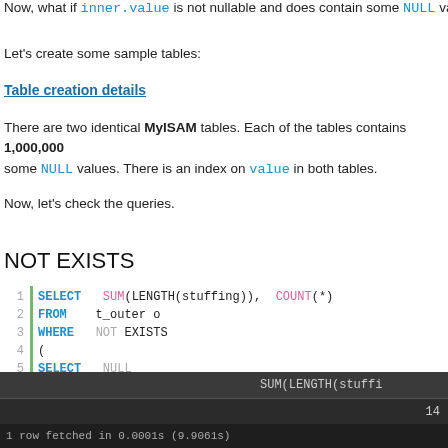Now, what if inner.value is not nullable and does contain some NULL value
Let's create some sample tables:
Table creation details
There are two identical MyISAM tables. Each of the tables contains 1,000,000 some NULL values. There is an index on value in both tables.
Now, let's check the queries.
NOT EXISTS
SELECT SUM(LENGTH(stuffing)), COUNT(*)
FROM t_outer o
WHERE NOT EXISTS
(
SELECT NULL
FROM t_inner i
WHERE i.val = o.val
)
| SUM(LENGTH(stuffi... |
| --- |
| 14 |
1 row fetched in 0.0001s (9.9061s)